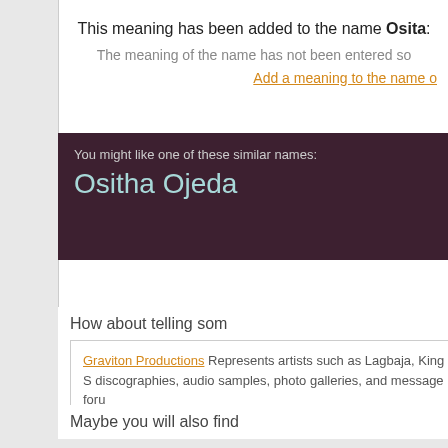This meaning has been added to the name Osita: The meaning of the name has not been entered so
Add a meaning to the name o
You might like one of these similar names: Ositha Ojeda
How about telling som
Graviton Productions Represents artists such as Lagbaja, King S discographies, audio samples, photo galleries, and message foru
Maybe you will also find